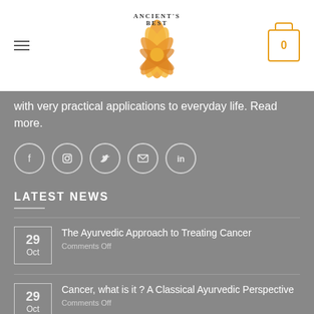[Figure (logo): Ancient's Best lotus flower logo with orange/gold stylized lotus and text 'Ancient's Best']
with very practical applications to everyday life. Read more.
[Figure (infographic): Row of 5 social media icons in circles: Facebook, Instagram, Twitter, Email, LinkedIn]
LATEST NEWS
The Ayurvedic Approach to Treating Cancer
Comments Off
Cancer, what is it ? A Classical Ayurvedic Perspective
Comments Off
Classical appreciation of Yogic Anatomy &